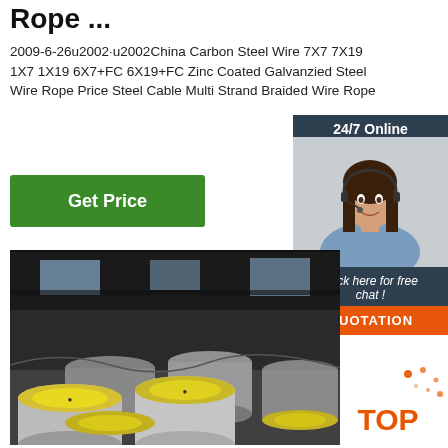Rope ...
2009-6-26u2002·u2002China Carbon Steel Wire 7X7 7X19 1X7 1X19 6X7+FC 6X19+FC Zinc Coated Galvanzied Steel Wire Rope Price Steel Cable Multi Strand Braided Wire Rope
24/7 Online
[Figure (photo): Customer service agent woman with headset smiling]
Click here for free chat !
QUOTATION
Get Price
[Figure (photo): Industrial steel round bar rods stacked in a factory/warehouse setting with yellow end caps]